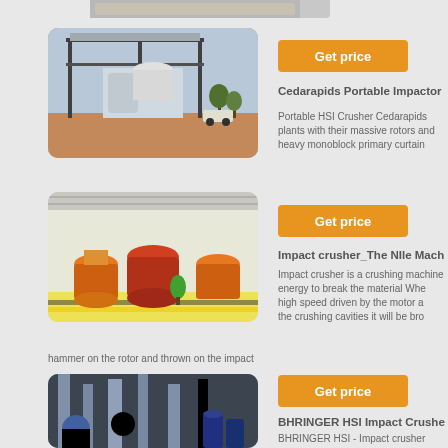[Figure (photo): Top partial image strip of industrial equipment, cropped at top of page]
[Figure (photo): Industrial plant structure with metal framework, outdoor setting on red dirt ground — Cedarapids Portable Impactor]
Get price
Cedarapids Portable Impactor
Portable HSI Crusher Cedarapids plants with their massive rotors and heavy monoblock primary curtain
[Figure (photo): Large factory floor with multiple cone crusher machines in blue/orange/red colors, warehouse interior — Impact crusher]
Get price
Impact crusher_The NIle Mach
Impact crusher is a crushing machine energy to break the material When high speed driven by the motor and the crushing cavities it will be broken by hammer on the rotor and thrown on the impact
[Figure (photo): Industrial piping and equipment in a factory — BHRINGER HSI Impact Crusher]
Get price
BHRINGER HSI Impact Crusher
BHRINGER HSI - Impact crusher primary secondary tertiary crushing